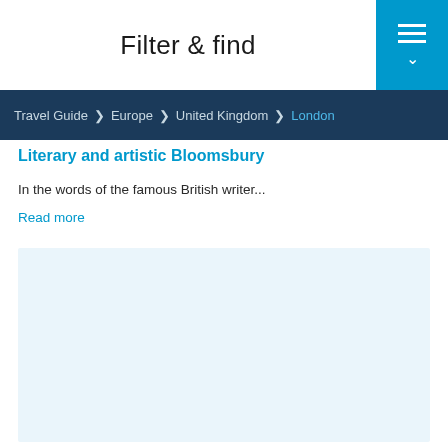Filter & find
Travel Guide > Europe > United Kingdom > London
Literary and artistic Bloomsbury
In the words of the famous British writer...
Read more
[Figure (other): Light blue content placeholder block]